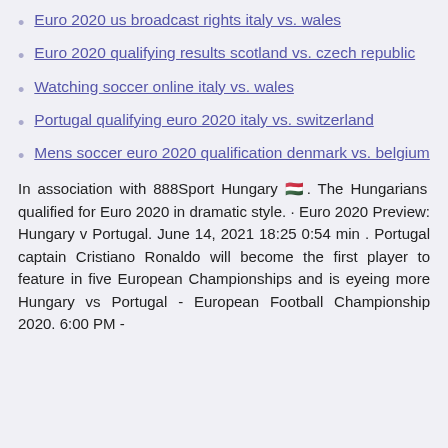Euro 2020 us broadcast rights italy vs. wales
Euro 2020 qualifying results scotland vs. czech republic
Watching soccer online italy vs. wales
Portugal qualifying euro 2020 italy vs. switzerland
Mens soccer euro 2020 qualification denmark vs. belgium
In association with 888Sport Hungary 🇭🇺. The Hungarians qualified for Euro 2020 in dramatic style. · Euro 2020 Preview: Hungary v Portugal. June 14, 2021 18:25 0:54 min . Portugal captain Cristiano Ronaldo will become the first player to feature in five European Championships and is eyeing more Hungary vs Portugal - European Football Championship 2020. 6:00 PM -